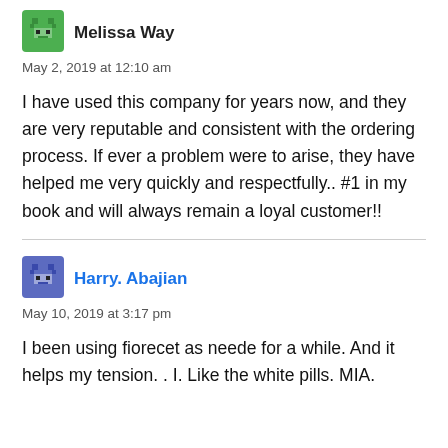[Figure (illustration): Green pixel-art avatar icon for Melissa Way]
Melissa Way
May 2, 2019 at 12:10 am
I have used this company for years now, and they are very reputable and consistent with the ordering process. If ever a problem were to arise, they have helped me very quickly and respectfully.. #1 in my book and will always remain a loyal customer!!
[Figure (illustration): Purple/dark pixel-art avatar icon for Harry. Abajian]
Harry. Abajian
May 10, 2019 at 3:17 pm
I been using fiorecet as neede for a while. And it helps my tension. . I. Like the white pills. MIA.